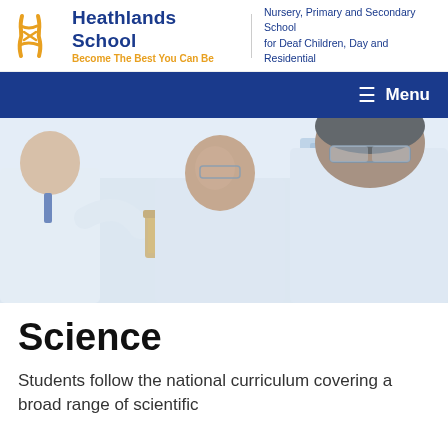Heathlands School — Become The Best You Can Be | Nursery, Primary and Secondary School for Deaf Children, Day and Residential
Menu
[Figure (photo): Students in white lab coats conducting a science experiment in a school laboratory, holding a beaker with liquid.]
Science
Students follow the national curriculum covering a broad range of scientific